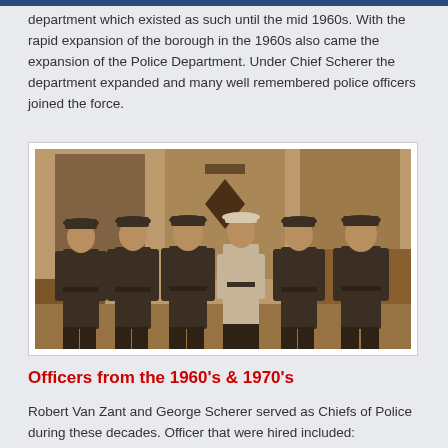department which existed as such until the mid 1960s. With the rapid expansion of the borough in the 1960s also came the expansion of the Police Department. Under Chief Scherer the department expanded and many well remembered police officers joined the force.
[Figure (photo): Sepia-toned photograph of seven police officers standing in a row. Six are wearing dark police uniforms with caps, and one (center) is wearing a white shirt with a white captain's hat. Behind them are flags and a sign/emblem. The photo appears to be from the 1960s.]
Officers from the 1960's & 1970's
Robert Van Zant and George Scherer served as Chiefs of Police during these decades. Officer that were hired included: